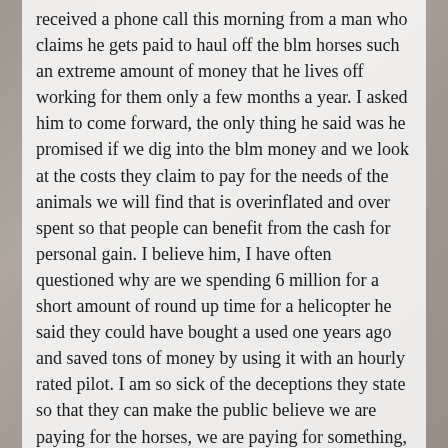received a phone call this morning from a man who claims he gets paid to haul off the blm horses such an extreme amount of money that he lives off working for them only a few months a year. I asked him to come forward, the only thing he said was he promised if we dig into the blm money and we look at the costs they claim to pay for the needs of the animals we will find that is overinflated and over spent so that people can benefit from the cash for personal gain. I believe him, I have often questioned why are we spending 6 million for a short amount of round up time for a helicopter he said they could have bought a used one years ago and saved tons of money by using it with an hourly rated pilot. I am so sick of the deceptions they state so that they can make the public believe we are paying for the horses, we are paying for something, and the horses are NOT it, I want the answers just as